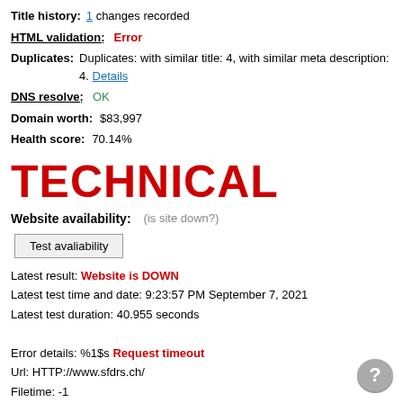Title history:  1 changes recorded
HTML validation:  Error
Duplicates:  Duplicates: with similar title: 4, with similar meta description: 4. Details
DNS resolve:  OK
Domain worth:  $83,997
Health score:  70.14%
TECHNICAL
Website availability:  (is site down?)
Test avaliability
Latest result: Website is DOWN
Latest test time and date: 9:23:57 PM September 7, 2021
Latest test duration: 40.955 seconds
Error details: %1$s Request timeout
Url: HTTP://www.sfdrs.ch/
Filetime: -1
Total_time: 20.001595
Namelookup_time: 0.253143
Upload_content_length: -1